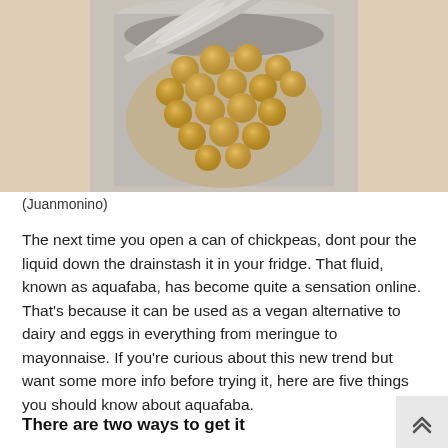[Figure (photo): An open tin/can of chickpeas viewed from above, showing round golden chickpeas in liquid, with the open lid visible. The left and right edges of the image have a blurred warm-toned background.]
(Juanmonino)
The next time you open a can of chickpeas, dont pour the liquid down the drainstash it in your fridge. That fluid, known as aquafaba, has become quite a sensation online. That’s because it can be used as a vegan alternative to dairy and eggs in everything from meringue to mayonnaise. If you’re curious about this new trend but want some more info before trying it, here are five things you should know about aquafaba.
There are two ways to get it